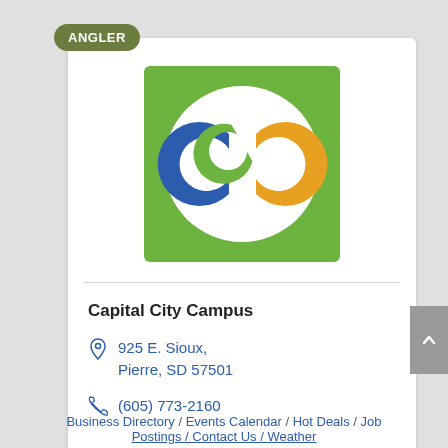ANGLER
[Figure (logo): Capital City Campus logo: green square background with white circle containing three interlocking C letters in blue, green, and orange/yellow]
Capital City Campus
925 E. Sioux, Pierre, SD 57501
(605) 773-2160
Business Directory / Events Calendar / Hot Deals / Job Postings / Contact Us / Weather